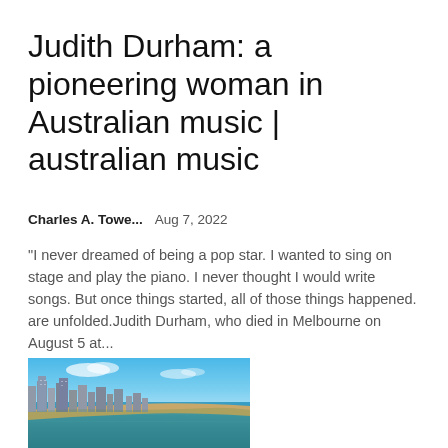Judith Durham: a pioneering woman in Australian music | australian music
Charles A. Towe...   Aug 7, 2022
"I never dreamed of being a pop star. I wanted to sing on stage and play the piano. I never thought I would write songs. But once things started, all of those things happened. are unfolded.Judith Durham, who died in Melbourne on August 5 at...
[Figure (photo): Aerial view of a coastal city with tall buildings, a sandy beach, and blue ocean water under a clear sky.]